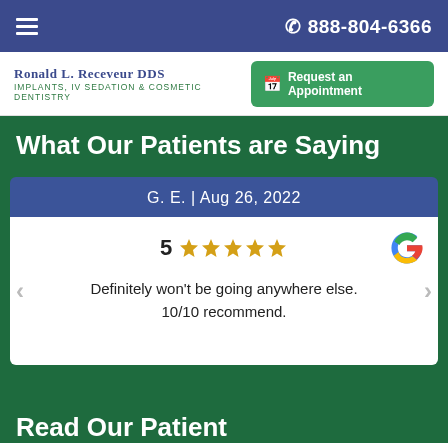888-804-6366
Ronald L. Receveur DDS
Implants, IV Sedation & Cosmetic Dentistry
Request an Appointment
What Our Patients are Saying
G. E.  |  Aug 26, 2022
5 ★★★★★
Definitely won't be going anywhere else. 10/10 recommend.
Read Our Patient